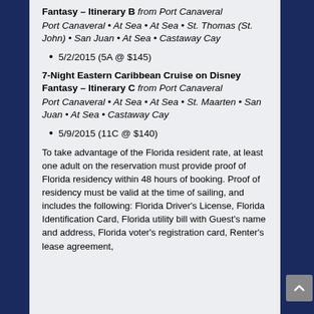Fantasy – Itinerary B from Port Canaveral
Port Canaveral • At Sea • At Sea • St. Thomas (St. John) • San Juan • At Sea • Castaway Cay
5/2/2015 (5A @ $145)
7-Night Eastern Caribbean Cruise on Disney Fantasy – Itinerary C from Port Canaveral
Port Canaveral • At Sea • At Sea • St. Maarten • San Juan • At Sea • Castaway Cay
5/9/2015 (11C @ $140)
To take advantage of the Florida resident rate, at least one adult on the reservation must provide proof of Florida residency within 48 hours of booking. Proof of residency must be valid at the time of sailing, and includes the following: Florida Driver's License, Florida Identification Card, Florida utility bill with Guest's name and address, Florida voter's registration card, Renter's lease agreement,